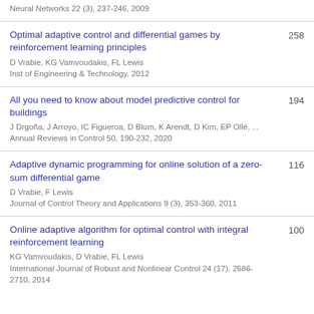Neural Networks 22 (3), 237-246, 2009
Optimal adaptive control and differential games by reinforcement learning principles
D Vrabie, KG Vamvoudakis, FL Lewis
Inst of Engineering & Technology, 2012
258
All you need to know about model predictive control for buildings
J Drgoña, J Arroyo, IC Figueroa, D Blum, K Arendt, D Kim, EP Ollé, ...
Annual Reviews in Control 50, 190-232, 2020
194
Adaptive dynamic programming for online solution of a zero-sum differential game
D Vrabie, F Lewis
Journal of Control Theory and Applications 9 (3), 353-360, 2011
116
Online adaptive algorithm for optimal control with integral reinforcement learning
KG Vamvoudakis, D Vrabie, FL Lewis
International Journal of Robust and Nonlinear Control 24 (17), 2686-2710, 2014
100